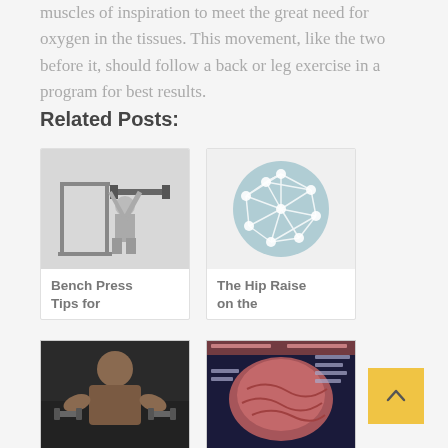muscles of inspiration to meet the great need for oxygen in the tissues. This movement, like the two before it, should follow a back or leg exercise in a program for best results.
Related Posts:
[Figure (photo): Person performing bench press exercise on a weight machine with barbell]
Bench Press Tips for
[Figure (illustration): Network/mesh geometric icon on a light teal circular background]
The Hip Raise on the
[Figure (photo): Muscular bodybuilder lifting dumbbells in a gym]
[Figure (illustration): Brain anatomy diagram with labeled sections in red and blue tones]